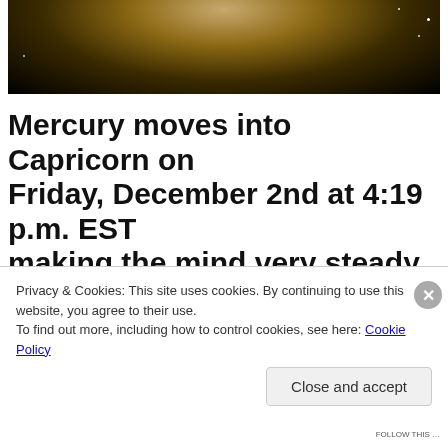[Figure (photo): Partial view of a planet (likely Saturn or similar) against a dark starry space background]
Mercury moves into Capricorn on Friday, December 2nd at 4:19 p.m. EST making the mind very steady, serious and sincere. This is a time when the
Privacy & Cookies: This site uses cookies. By continuing to use this website, you agree to their use.
To find out more, including how to control cookies, see here: Cookie Policy